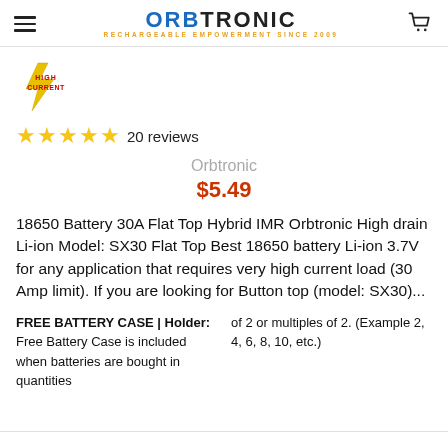ORBTRONIC - RECHARGEABLE EMPOWERMENT SINCE 2009
[Figure (logo): High Current badge with lightning bolt icon and red text]
★★★★★ 20 reviews
Orbtronic
$5.49
18650 Battery 30A Flat Top Hybrid IMR Orbtronic High drain Li-ion Model: SX30 Flat Top Best 18650 battery Li-ion 3.7V for any application that requires very high current load (30 Amp limit). If you are looking for Button top (model: SX30)...
FREE BATTERY CASE | Holder: Free Battery Case is included when batteries are bought in quantities of 2 or multiples of 2. (Example 2, 4, 6, 8, 10, etc.)